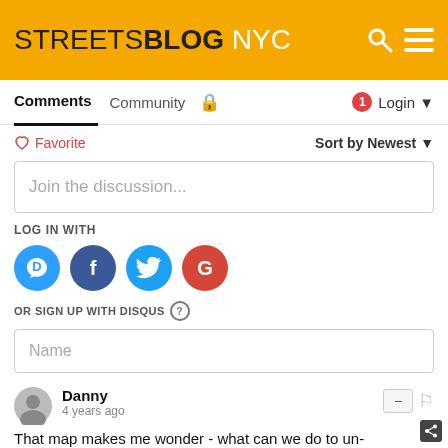STREETSBLOG NYC
Comments  Community  Login
Favorite  Sort by Newest
Join the discussion...
LOG IN WITH
[Figure (logo): Social login icons: Disqus (D), Facebook (F), Twitter bird, Google (G)]
OR SIGN UP WITH DISQUS ?
Name
Danny
4 years ago
That map makes me wonder - what can we do to un-gerrymander our districts?